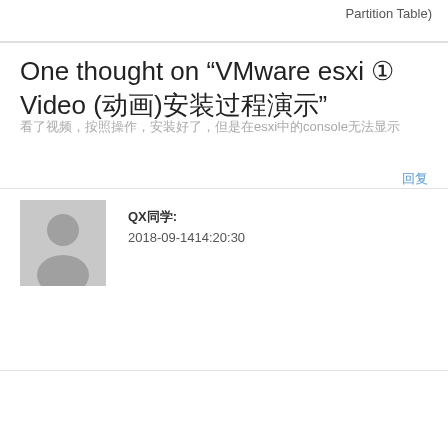Partition Table)
One thought on “VMware esxi ① Video (动画)安装过程演示”
QX同学: 2018-09-1414:20:30
看了视频，按照操作，安装好了，但是在esxi中的console无法显示
回复